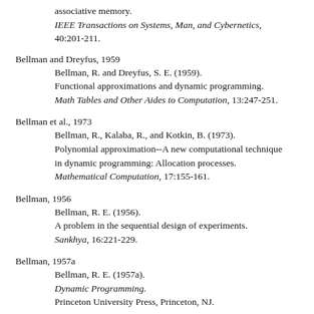associative memory. IEEE Transactions on Systems, Man, and Cybernetics, 40:201-211.
Bellman and Dreyfus, 1959
  Bellman, R. and Dreyfus, S. E. (1959). Functional approximations and dynamic programming. Math Tables and Other Aides to Computation, 13:247-251.
Bellman et al., 1973
  Bellman, R., Kalaba, R., and Kotkin, B. (1973). Polynomial approximation--A new computational technique in dynamic programming: Allocation processes. Mathematical Computation, 17:155-161.
Bellman, 1956
  Bellman, R. E. (1956). A problem in the sequential design of experiments. Sankhya, 16:221-229.
Bellman, 1957a
  Bellman, R. E. (1957a). Dynamic Programming. Princeton University Press, Princeton, NJ.
Bellman, 1957b